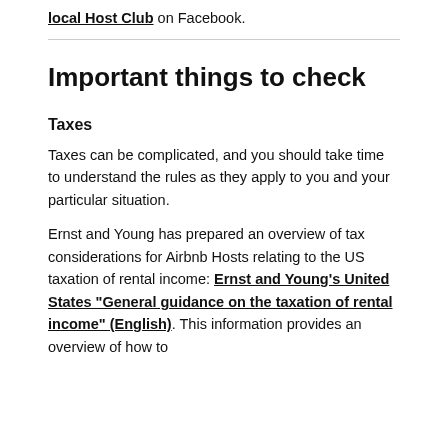local Host Club on Facebook.
Important things to check
Taxes
Taxes can be complicated, and you should take time to understand the rules as they apply to you and your particular situation.
Ernst and Young has prepared an overview of tax considerations for Airbnb Hosts relating to the US taxation of rental income: Ernst and Young's United States "General guidance on the taxation of rental income" (English). This information provides an overview of how to